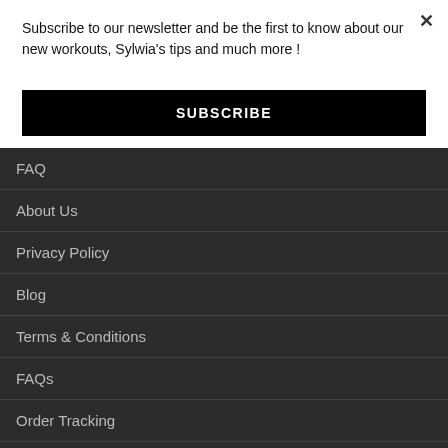Subscribe to our newsletter and be the first to know about our new workouts, Sylwia's tips and much more !
SUBSCRIBE
FAQ
About Us
Privacy Policy
Blog
Terms & Conditions
FAQs
Order Tracking
Contact